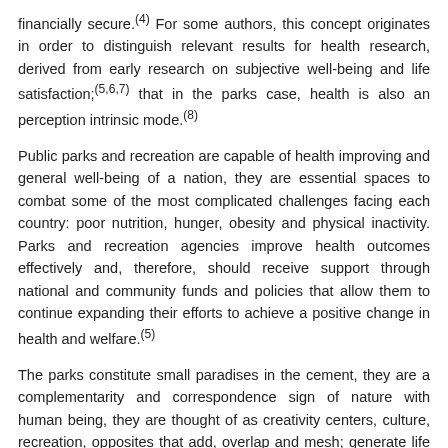financially secure.(4) For some authors, this concept originates in order to distinguish relevant results for health research, derived from early research on subjective well-being and life satisfaction;(5,6,7) that in the parks case, health is also an perception intrinsic mode.(8)
Public parks and recreation are capable of health improving and general well-being of a nation, they are essential spaces to combat some of the most complicated challenges facing each country: poor nutrition, hunger, obesity and physical inactivity. Parks and recreation agencies improve health outcomes effectively and, therefore, should receive support through national and community funds and policies that allow them to continue expanding their efforts to achieve a positive change in health and welfare.(5)
The parks constitute small paradises in the cement, they are a complementarity and correspondence sign of nature with human being, they are thought of as creativity centers, culture, recreation, opposites that add, overlap and mesh; generate life and synergy, comfort, feed back; The parks are health synonyms.
This study focuses from semiosis, which responds in particular to generating belonging, dichotomous value to nationalism from "emblematic" of the parks, and it is precisely this condition, from which one of the first nerve points of study emerged, since the term is not assertively conceptualized which did